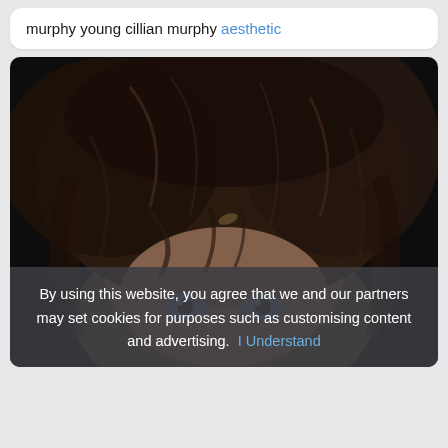murphy young cillian murphy aesthetic
[Figure (photo): Close-up photo of a young man with dark wavy/shaggy hair and pale blue eyes, looking upward slightly, dark background]
By using this website, you agree that we and our partners may set cookies for purposes such as customising content and advertising. I Understand